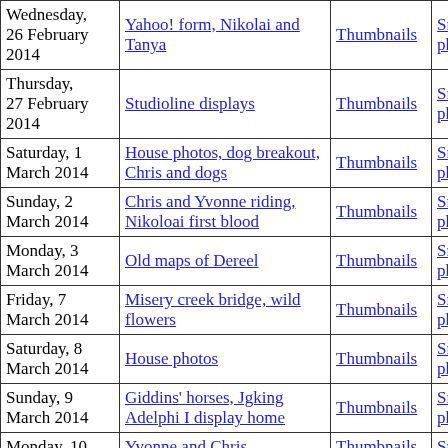| Date | Title | Thumbnails | Small photos | diary |
| --- | --- | --- | --- | --- |
| Wednesday, 26 February 2014 | Yahoo! form, Nikolai and Tanya | Thumbnails | Small photos | diary |
| Thursday, 27 February 2014 | Studioline displays | Thumbnails | Small photos | diary |
| Saturday, 1 March 2014 | House photos, dog breakout, Chris and dogs | Thumbnails | Small photos | diary |
| Sunday, 2 March 2014 | Chris and Yvonne riding, Nikoloai first blood | Thumbnails | Small photos | diary |
| Monday, 3 March 2014 | Old maps of Dereel | Thumbnails | Small photos | diary |
| Friday, 7 March 2014 | Misery creek bridge, wild flowers | Thumbnails | Small photos | diary |
| Saturday, 8 March 2014 | House photos | Thumbnails | Small photos | diary |
| Sunday, 9 March 2014 | Giddins' horses, Jgking Adelphi I display home | Thumbnails | Small photos | diary |
| Monday, 10 | Yvonne and Chris ... | Thumbnails | Small |  |